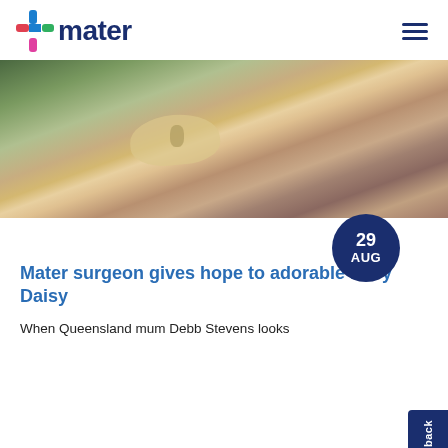mater
[Figure (photo): Close-up photo of a woman with auburn hair in a ponytail looking down at a baby/toddler wearing a yellow and white gingham bow headband, outdoors with blurred background]
Mater surgeon gives hope to adorable baby Daisy
When Queensland mum Debb Stevens looks